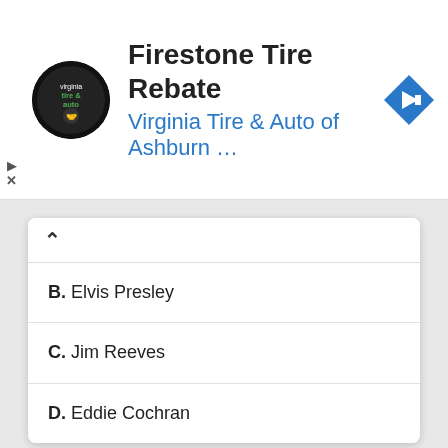[Figure (screenshot): Advertisement banner for Firestone Tire Rebate at Virginia Tire & Auto of Ashburn, with circular logo and blue navigation arrow icon]
B. Elvis Presley
C. Jim Reeves
D. Eddie Cochran